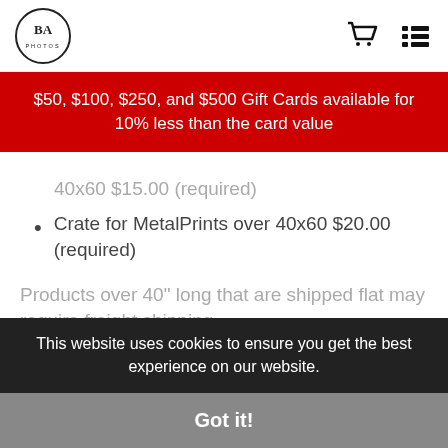BA Photos logo with cart and menu icons
$50, $100, $250, and $500 Gift Cards available for 10% less than the card value
40x60 $15.00 (required)
Crate for MetalPrints over 40x60 $20.00 (required)
Products over 40" long that are shipped flat may require freight shipping.
We can provide freight quotes for these
This website uses cookies to ensure you get the best experience on our website.
Got it!